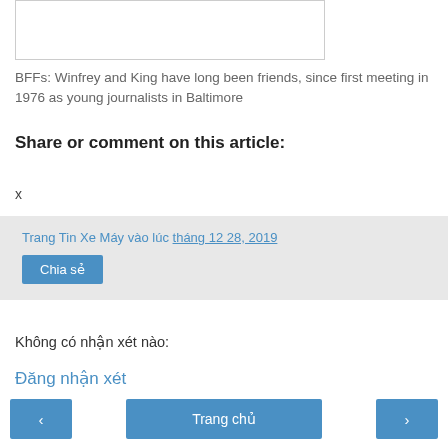[Figure (photo): Image placeholder at top of page]
BFFs: Winfrey and King have long been friends, since first meeting in 1976 as young journalists in Baltimore
Share or comment on this article:
x
Trang Tin Xe Máy vào lúc tháng 12 28, 2019
Chia sẻ
Không có nhận xét nào:
Đăng nhận xét
‹  Trang chủ  ›